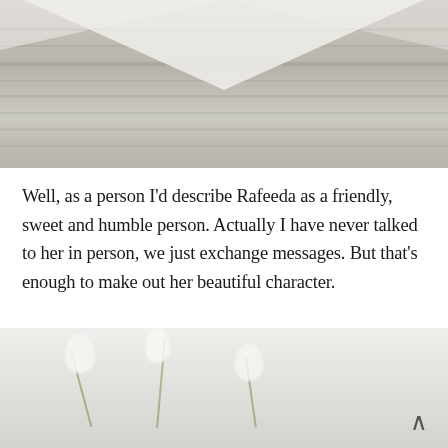[Figure (photo): Top photo showing a wooden textured surface (gray/beige wood grain) with what appears to be an envelope or card with a V-fold flap pointing downward in the upper portion.]
Well, as a person I'd describe Rafeeda as a friendly, sweet and humble person. Actually I have never talked to her in person, we just exchange messages. But that's enough to make out her beautiful character.
[Figure (photo): Bottom photo showing white flowers (possibly lily of the valley or similar small white blooms) with green stems on a soft light background, partially cropped at bottom of page. A back/up arrow icon is visible in the bottom right corner.]